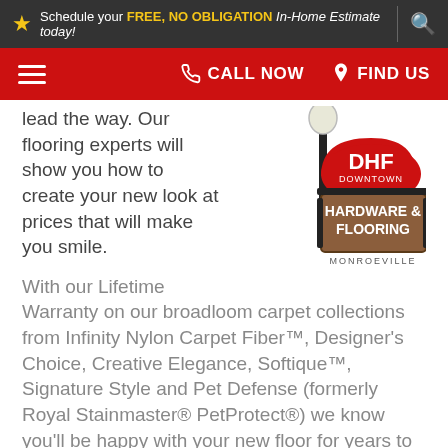Schedule your FREE, NO OBLIGATION In-Home Estimate today!
[Figure (logo): DHF Downtown Hardware & Flooring Monroeville logo on a street lamp sign]
lead the way. Our flooring experts will show you how to create your new look at prices that will make you smile.
With our Lifetime Warranty on our broadloom carpet collections from Infinity Nylon Carpet Fiber™, Designer's Choice, Creative Elegance, Softique™, Signature Style and Pet Defense (formerly Royal Stainmaster® PetProtect®) we know you'll be happy with your new floor for years to come.